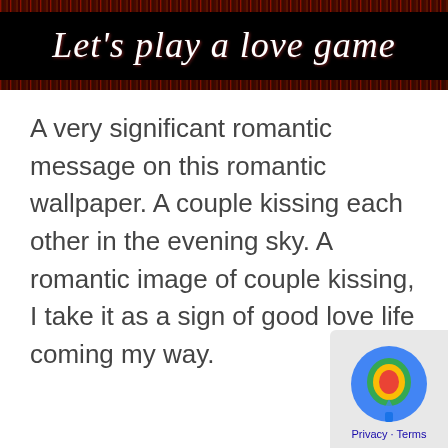[Figure (illustration): Dark banner with red noise/waveform along top and bottom edges, containing white italic text 'Let's play a love game' on black background]
A very significant romantic message on this romantic wallpaper. A couple kissing each other in the evening sky. A romantic image of couple kissing, I take it as a sign of good love life coming my way.
[Figure (screenshot): Small corner widget showing Google Maps or similar app icon with blue/teal colors, and Privacy · Terms links below]